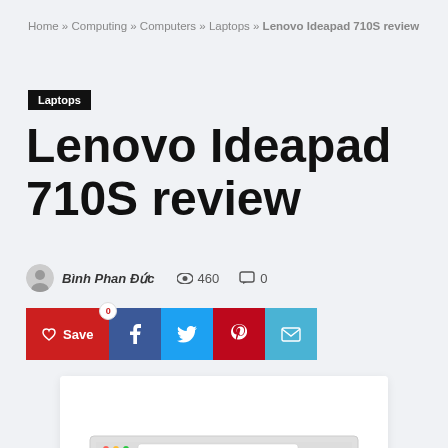Home » Computing » Computers » Laptops » Lenovo Ideapad 710S review
Laptops
Lenovo Ideapad 710S review
Bình Phan Đức  👁 460  💬 0
[Figure (screenshot): Social sharing buttons: Save (heart icon, red), Facebook (blue), Twitter (light blue), Pinterest (red), Email (blue). Below is a laptop screenshot showing a photo editing or gallery application on screen.]